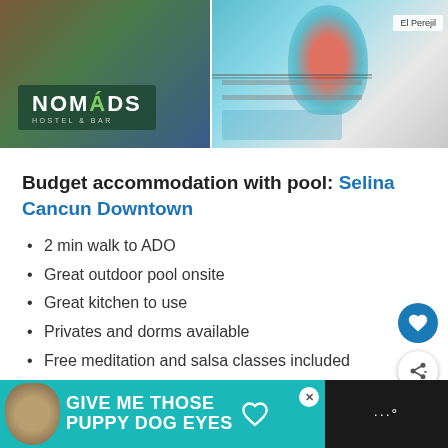[Figure (photo): Hostel photo collage showing Nomads Hostel & Bar sign on left with colorful building, and outdoor pool/terrace area with mural artwork on right]
Budget accommodation with pool: Selina Cancun Downtown
2 min walk to ADO
Great outdoor pool onsite
Great kitchen to use
Privates and dorms available
Free meditation and salsa classes included
[Figure (photo): Advertisement banner: GIVE ME THOSE PUPPY DOG EYES with dog photo, teal background]